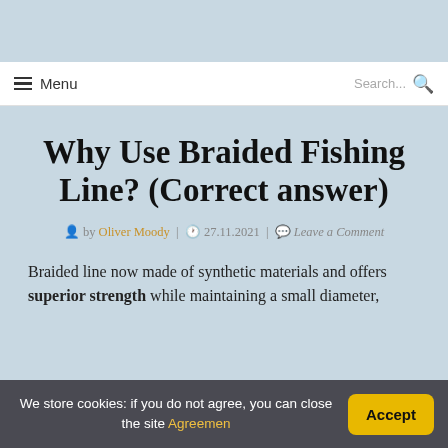Menu | Search...
Why Use Braided Fishing Line? (Correct answer)
by Oliver Moody | 27.11.2021 | Leave a Comment
Braided line now made of synthetic materials and offers superior strength while maintaining a small diameter,
We store cookies: if you do not agree, you can close the site Agreemen  Accept